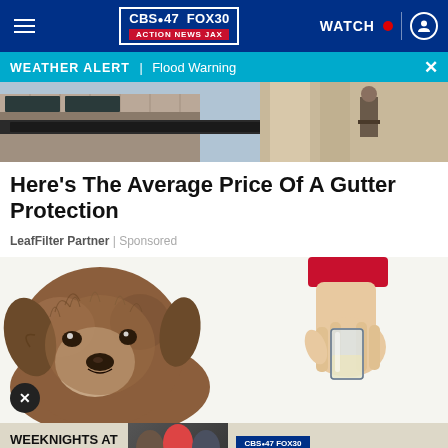CBS47 FOX30 ACTION NEWS JAX | WATCH
WEATHER ALERT | Flood Warning
[Figure (photo): Photo of gutter and roofline with a worker visible in background]
Here's The Average Price Of A Gutter Protection
LeafFilter Partner | Sponsored
[Figure (illustration): Illustrated image of a fluffy brown dog looking at viewer, with a hand holding a glass container on the right side]
WEEKNIGHTS AT 5, 6, 10 & 11 PM — CBS47 FOX30 ACTION NEWS JAX